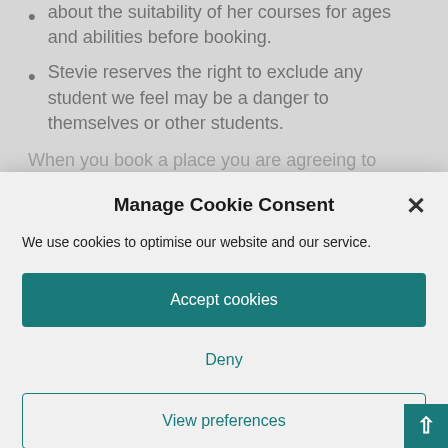about the suitability of her courses for ages and abilities before booking.
Stevie reserves the right to exclude any student we feel may be a danger to themselves or other students.
When you book a place you are agreeing to
Manage Cookie Consent
We use cookies to optimise our website and our service.
Accept cookies
Deny
View preferences
Cookie Policy   Terms & Conditions